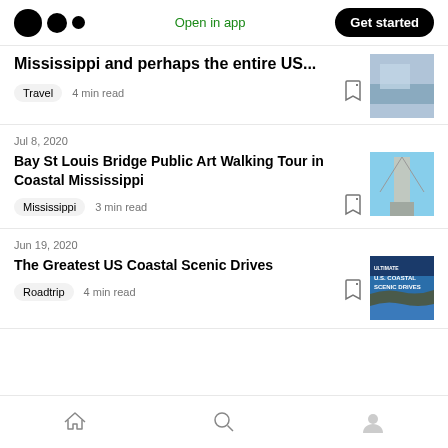Medium logo | Open in app | Get started
Mississippi and perhaps the entire US...
Travel  4 min read
Jul 8, 2020
Bay St Louis Bridge Public Art Walking Tour in Coastal Mississippi
Mississippi  3 min read
Jun 19, 2020
The Greatest US Coastal Scenic Drives
Roadtrip  4 min read
Home | Search | Profile